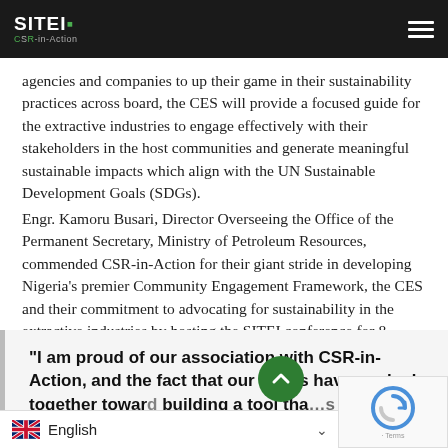SITEI CSR-in-Action
agencies and companies to up their game in their sustainability practices across board, the CES will provide a focused guide for the extractive industries to engage effectively with their stakeholders in the host communities and generate meaningful sustainable impacts which align with the UN Sustainable Development Goals (SDGs).
Engr. Kamoru Busari, Director Overseeing the Office of the Permanent Secretary, Ministry of Petroleum Resources, commended CSR-in-Action for their giant stride in developing Nigeria's premier Community Engagement Framework, the CES and their commitment to advocating for sustainability in the extractive industries by hosting the SITEI conference for 8 consecutive years. He said that
“I am proud of our association with CSR-in-Action, and the fact that our teams have worked together toward building a tool tha…s the potentia… solve the crisis we ha…